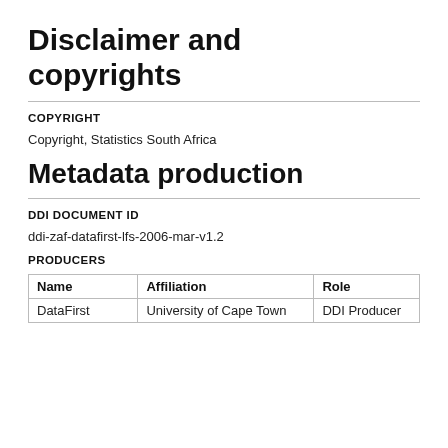Disclaimer and copyrights
COPYRIGHT
Copyright, Statistics South Africa
Metadata production
DDI DOCUMENT ID
ddi-zaf-datafirst-lfs-2006-mar-v1.2
PRODUCERS
| Name | Affiliation | Role |
| --- | --- | --- |
| DataFirst | University of Cape Town | DDI Producer |